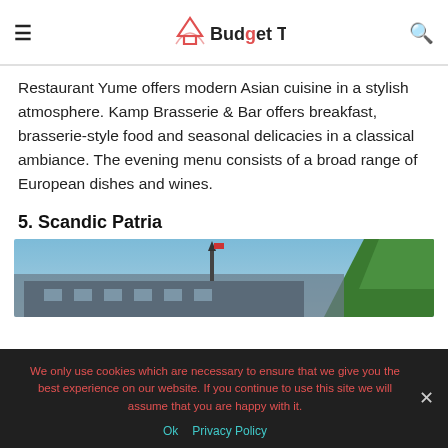Budget Traveller
Restaurant Yume offers modern Asian cuisine in a stylish atmosphere. Kamp Brasserie & Bar offers breakfast, brasserie-style food and seasonal delicacies in a classical ambiance. The evening menu consists of a broad range of European dishes and wines.
5. Scandic Patria
[Figure (photo): Exterior photo of Scandic Patria hotel building with blue sky and green trees]
We only use cookies which are necessary to ensure that we give you the best experience on our website. If you continue to use this site we will assume that you are happy with it.
Ok   Privacy Policy